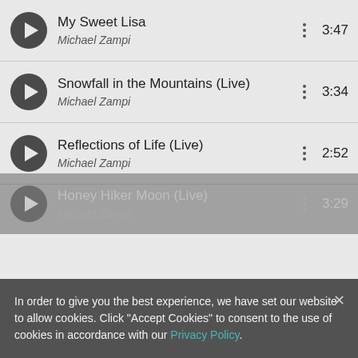My Sweet Lisa — Michael Zampi — 3:47
Snowfall in the Mountains (Live) — Michael Zampi — 3:34
Reflections of Life (Live) — Michael Zampi — 2:52
Honey Hiker Moon (Live) — Michael Zampi — 3:29
In order to give you the best experience, we have set our website to allow cookies. Click "Accept Cookies" to consent to the use of cookies in accordance with our Privacy Policy.